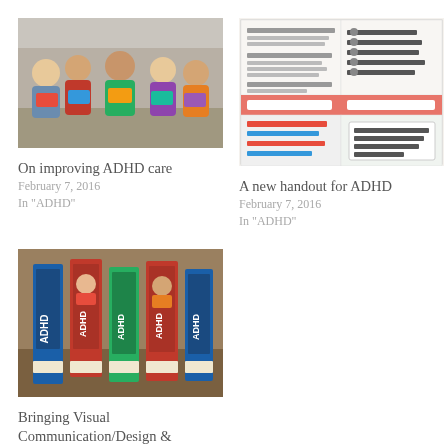[Figure (photo): Children sitting together reading books]
On improving ADHD care
February 7, 2016
In "ADHD"
[Figure (photo): ADHD handout infographic with tips to help your child]
A new handout for ADHD
February 7, 2016
In "ADHD"
[Figure (photo): ADHD book display with multiple books lined up]
Bringing Visual Communication/Design & Families Together to Improve Health Services Research
February 7, 2016